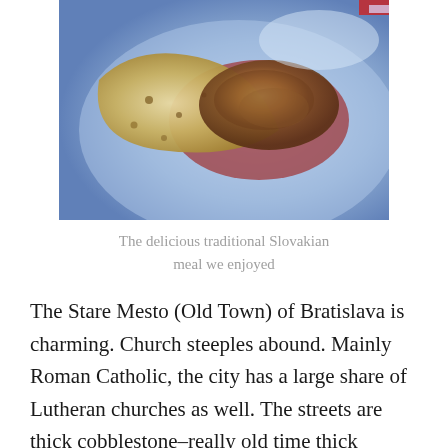[Figure (photo): A close-up photo of a traditional Slovakian meal on a blue plate, showing flatbread and meat with sauce.]
The delicious traditional Slovakian meal we enjoyed
The Stare Mesto (Old Town) of Bratislava is charming. Church steeples abound. Mainly Roman Catholic, the city has a large share of Lutheran churches as well. The streets are thick cobblestone–really old time thick cobblestone. The narrow streets curve around so that you don't end up where you thought you were going. But, that was ok, since where you went was pretty and interesting. I